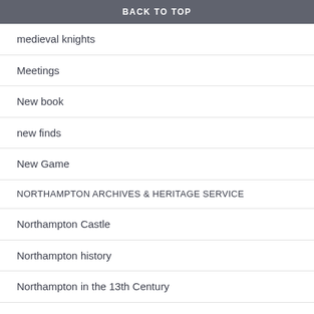BACK TO TOP
medieval knights
Meetings
New book
new finds
New Game
NORTHAMPTON ARCHIVES & HERITAGE SERVICE
Northampton Castle
Northampton history
Northampton in the 13th Century